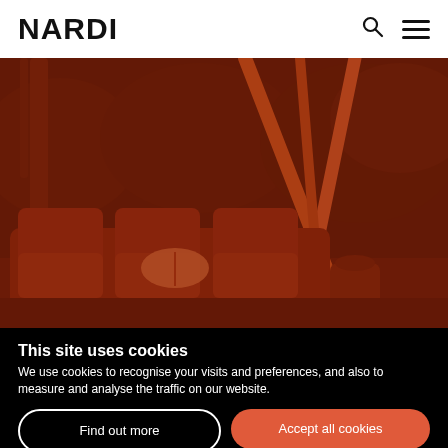NARDI
[Figure (photo): Outdoor furniture scene with a sofa and open book, with a teepee-like structure in the background against a hedge wall. Image has a red-brown tint overlay.]
This site uses cookies
We use cookies to recognise your visits and preferences, and also to measure and analyse the traffic on our website.
Find out more
Accept all cookies